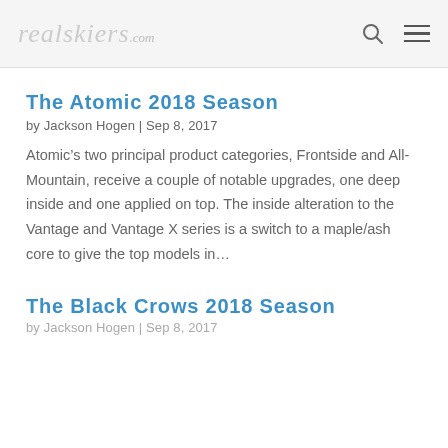realskiers.com
The Atomic 2018 Season
by Jackson Hogen | Sep 8, 2017
Atomic's two principal product categories, Frontside and All-Mountain, receive a couple of notable upgrades, one deep inside and one applied on top. The inside alteration to the Vantage and Vantage X series is a switch to a maple/ash core to give the top models in...
The Black Crows 2018 Season
by Jackson Hogen | Sep 8, 2017